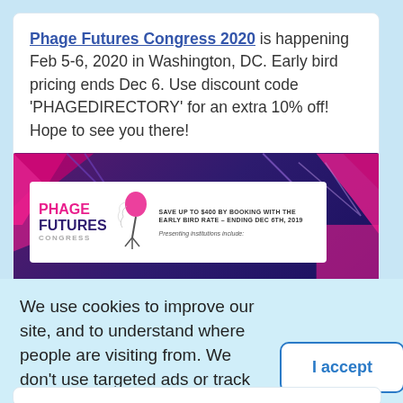Phage Futures Congress 2020 is happening Feb 5-6, 2020 in Washington, DC. Early bird pricing ends Dec 6. Use discount code 'PHAGEDIRECTORY' for an extra 10% off! Hope to see you there!
[Figure (illustration): Phage Futures Congress 2020 promotional banner showing logo with 'PHAGE FUTURES CONGRESS' text, a bacteriophage icon, and text reading 'SAVE UP TO $400 BY BOOKING WITH THE EARLY BIRD RATE - ENDING DEC 6TH, 2019. Presenting institutions include:' on white background with purple and pink geometric decorative shapes.]
We use cookies to improve our site, and to understand where people are visiting from. We don't use targeted ads or track personal information. Read our site policies here.